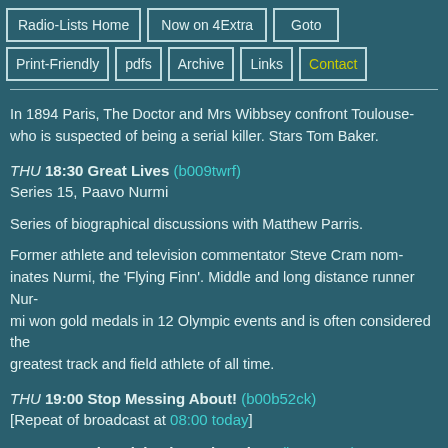Radio-Lists Home | Now on 4Extra | Goto | Print-Friendly | pdfs | Archive | Links | Contact
In 1894 Paris, The Doctor and Mrs Wibbsey confront Toulouse who is suspected of being a serial killer. Stars Tom Baker.
THU 18:30 Great Lives (b009twrf)
Series 15, Paavo Nurmi
Series of biographical discussions with Matthew Parris.
Former athlete and television commentator Steve Cram nominates Nurmi, the 'Flying Finn'. Middle and long distance runner Nurmi won gold medals in 12 Olympic events and is often considered the greatest track and field athlete of all time.
THU 19:00 Stop Messing About! (b00b52ck)
[Repeat of broadcast at 08:00 today]
THU 19:30 The Michael Bentine Show (b008yrw8)
[Repeat of broadcast at 08:30 today]